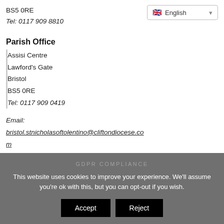BS5 0RE
Tel: 0117 909 8810
Parish Office
Assisi Centre
Lawford's Gate
Bristol
BS5 0RE
Tel: 0117 909 0419
Email:
bristol.stnicholasoftolentino@cliftondiocese.com
GDPR COMPLIANCE
This website uses cookies to improve your experience. We'll assume you're ok with this, but you can opt-out if you wish.
Accept
Reject